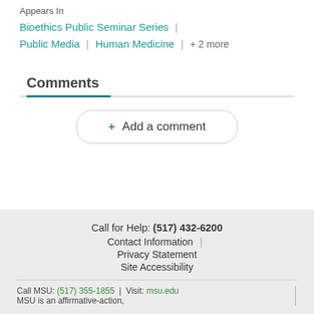Appears In
Bioethics Public Seminar Series | Public Media | Human Medicine | + 2 more
Comments
+ Add a comment
Call for Help: (517) 432-6200 Contact Information | Privacy Statement Site Accessibility Call MSU: (517) 355-1855 | Visit: msu.edu MSU is an affirmative-action,